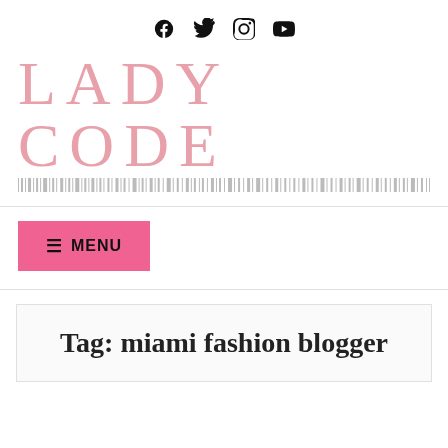[Figure (other): Social media icons: Facebook, Twitter, Instagram, YouTube]
LADY CODE
[Figure (other): Barcode-style decorative line under the Lady Code logo]
≡ MENU
Tag: miami fashion blogger